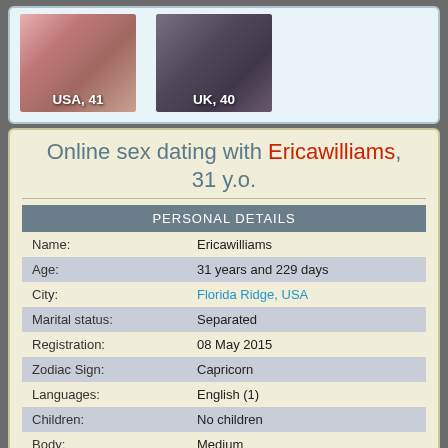[Figure (photo): Photo thumbnail of a woman, labeled USA, 41]
[Figure (photo): Photo thumbnail of a person, labeled UK, 40]
Online sex dating with Ericawilliams, 31 y.o.
| PERSONAL DETAILS |  |
| --- | --- |
| Name: | Ericawilliams |
| Age: | 31 years and 229 days |
| City: | Florida Ridge, USA |
| Marital status: | Separated |
| Registration: | 08 May 2015 |
| Zodiac Sign: | Capricorn |
| Languages: | English (1) |
| Children: | No children |
| Body: | Medium |